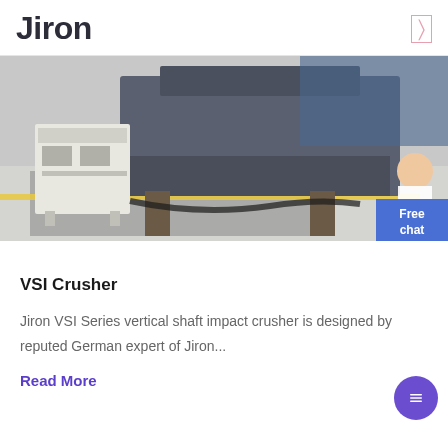Jiron
[Figure (photo): Industrial VSI crusher machine on a factory floor with a yellow line on the ground and a white hydraulic/electrical unit to the left. A customer service representative figure is visible at the right edge with a 'Free chat' button overlay.]
VSI Crusher
Jiron VSI Series vertical shaft impact crusher is designed by reputed German expert of Jiron...
Read More